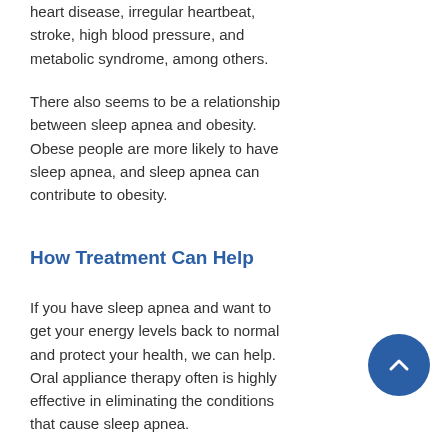heart disease, irregular heartbeat, stroke, high blood pressure, and metabolic syndrome, among others.
There also seems to be a relationship between sleep apnea and obesity. Obese people are more likely to have sleep apnea, and sleep apnea can contribute to obesity.
How Treatment Can Help
If you have sleep apnea and want to get your energy levels back to normal and protect your health, we can help. Oral appliance therapy often is highly effective in eliminating the conditions that cause sleep apnea.